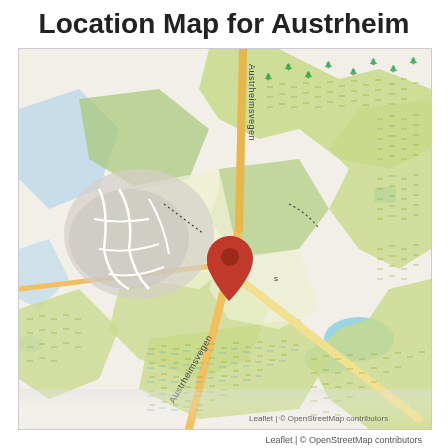Location Map for Austrheim
[Figure (map): OpenStreetMap-based location map showing Austrheim area in Norway. Features roads including Austrheimsvegen, forested areas (green with tree symbols), water bodies (blue), residential areas (grey), and an orange/red location pin marker in the center-left area of the map. Road 'Austrheimsvegen' labeled both vertically in center and diagonally at lower-left.]
Leaflet | © OpenStreetMap contributors